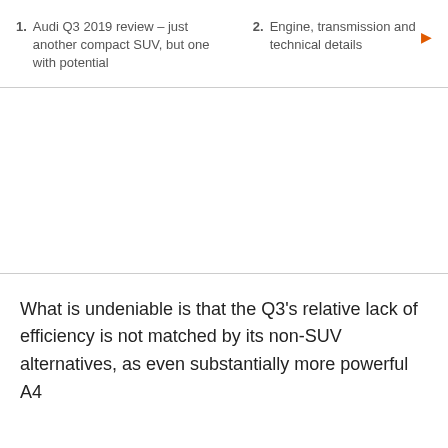1. Audi Q3 2019 review – just another compact SUV, but one with potential
2. Engine, transmission and technical details
[Figure (photo): Blank white image area, likely a photo placeholder for the Audi Q3]
What is undeniable is that the Q3's relative lack of efficiency is not matched by its non-SUV alternatives, as even substantially more powerful A4